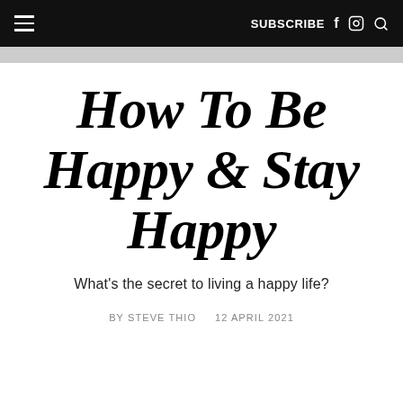≡  SUBSCRIBE  f  ⓘ  🔍
How To Be Happy & Stay Happy
What's the secret to living a happy life?
BY STEVE THIO   12 APRIL 2021